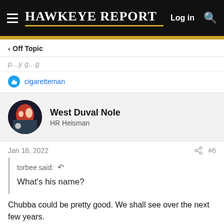HAWKEYE REPORT
< Off Topic
cigaretteman
West Duval Nole
HR Heisman
Jan 18, 2022  #6
torbee said: ↺

What's his name?
Chubba could be pretty good. We shall see over the next few years.